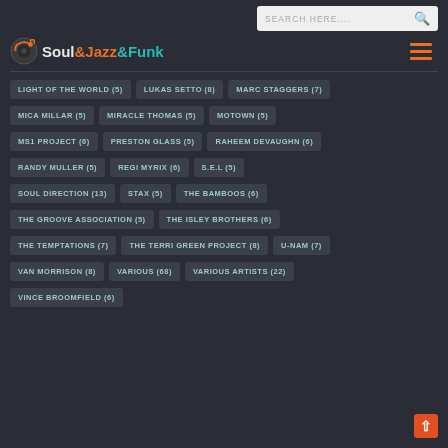Soul&Jazz&Funk — Search Here....
LIGHT OF THE WORLD (5)
LUKAS SETTO (8)
MARC STAGGERS (7)
MICA MILLAR (5)
MIRACLE THOMAS (5)
MOTOWN (5)
MS1 PROJECT (6)
PRESTON GLASS (5)
RAHEEM DEVAUGHN (6)
RANDY MULLER (5)
REGI MYRIX (6)
S.E.L (5)
SOUL DIRECTION (13)
STAX (5)
THE BAMBOOS (6)
THE GROOVE ASSOCIATION (5)
THE ISLEY BROTHERS (6)
THE TEMPTATIONS (7)
THE TERRI GREEN PROJECT (8)
U-NAM (7)
VAN MORRISON (8)
VARIOUS (68)
VARIOUS ARTISTS (22)
VINCE BROOMFIELD (6)